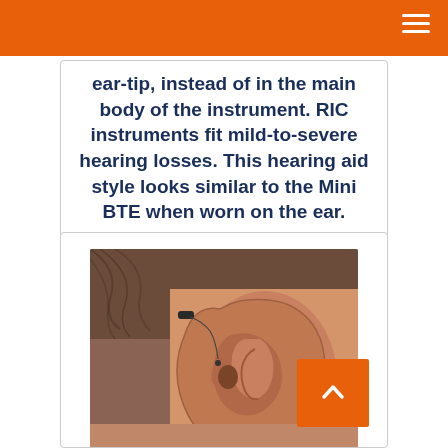ear-tip, instead of in the main body of the instrument. RIC instruments fit mild-to-severe hearing losses. This hearing aid style looks similar to the Mini BTE when worn on the ear.
[Figure (photo): Close-up photograph of a human ear with a small RIC (Receiver-in-Canal) hearing aid worn behind the ear, showing the thin wire running into the ear canal.]